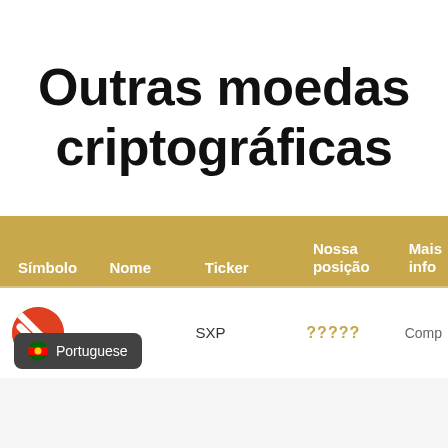Outras moedas criptográficas
| Símbolo | Nome | Ticker | Nossa posição | Mais info |
| --- | --- | --- | --- | --- |
| [icon] |  | SXP | ????? | Comp... |